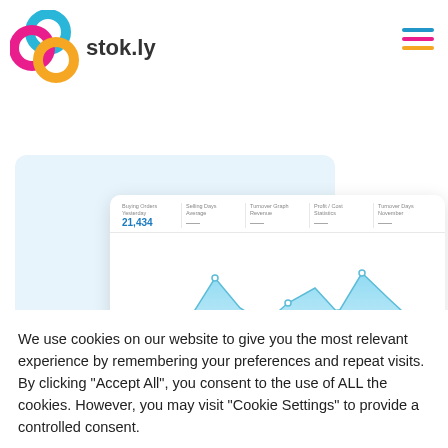[Figure (logo): Stok.ly logo: three interlocking rings in pink/magenta, blue/cyan, and orange, next to the text 'stok.ly' in dark gray bold font]
[Figure (screenshot): Stok.ly dashboard screenshot showing an area chart with blue and orange/tan overlapping areas, with column headers and a value of 21,434]
We use cookies on our website to give you the most relevant experience by remembering your preferences and repeat visits. By clicking "Accept All", you consent to the use of ALL the cookies. However, you may visit "Cookie Settings" to provide a controlled consent.
Cookie Settings
Accept All